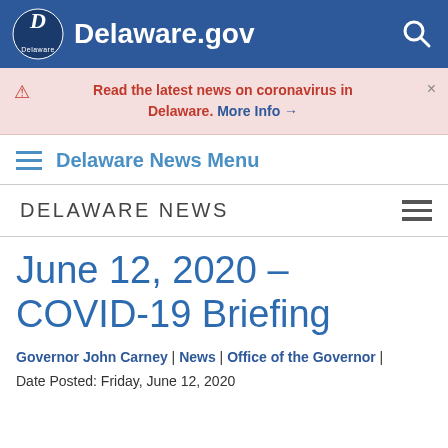Delaware.gov
Read the latest news on coronavirus in Delaware. More Info →
Delaware News Menu
DELAWARE NEWS
June 12, 2020 – COVID-19 Briefing
Governor John Carney | News | Office of the Governor | Date Posted: Friday, June 12, 2020